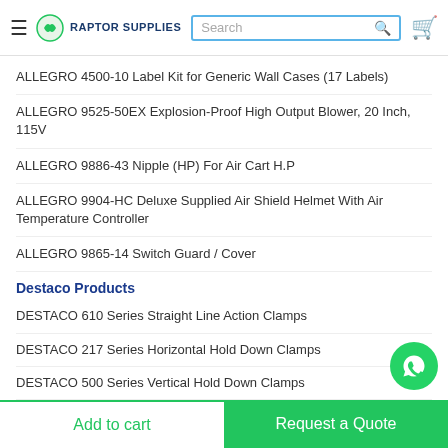Raptor Supplies — Search bar and cart icon
ALLEGRO 4500-10 Label Kit for Generic Wall Cases (17 Labels)
ALLEGRO 9525-50EX Explosion-Proof High Output Blower, 20 Inch, 115V
ALLEGRO 9886-43 Nipple (HP) For Air Cart H.P
ALLEGRO 9904-HC Deluxe Supplied Air Shield Helmet With Air Temperature Controller
ALLEGRO 9865-14 Switch Guard / Cover
Destaco Products
DESTACO 610 Series Straight Line Action Clamps
DESTACO 217 Series Horizontal Hold Down Clamps
DESTACO 500 Series Vertical Hold Down Clamps
DESTACO 5305, 5310 Series Horizontal Hold Down Clamps
DESTACO 847 Series Pneumatic Toggle Clamps
Add to cart | Request a Quote